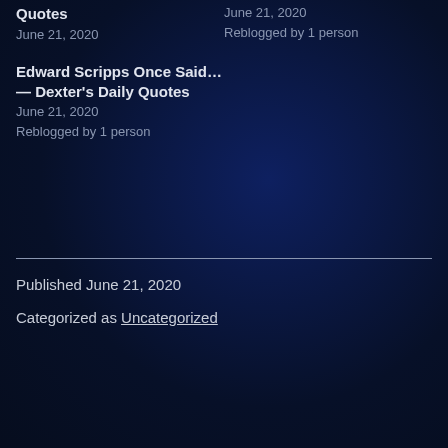Quotes
June 21, 2020
June 21, 2020
Reblogged by 1 person
Edward Scripps Once Said… — Dexter's Daily Quotes
June 21, 2020
Reblogged by 1 person
Published June 21, 2020
Categorized as Uncategorized